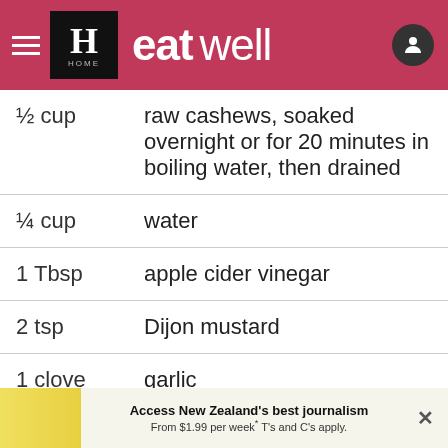eat well
| Amount | Ingredient |
| --- | --- |
| ½ cup | raw cashews, soaked overnight or for 20 minutes in boiling water, then drained |
| ¼ cup | water |
| 1 Tbsp | apple cider vinegar |
| 2 tsp | Dijon mustard |
| 1 clove | garlic |
| Pinch | salt and pepper |
| ¼ cup | fresh coriander, finely |
Access New Zealand's best journalism From $1.99 per week* T's and C's apply.